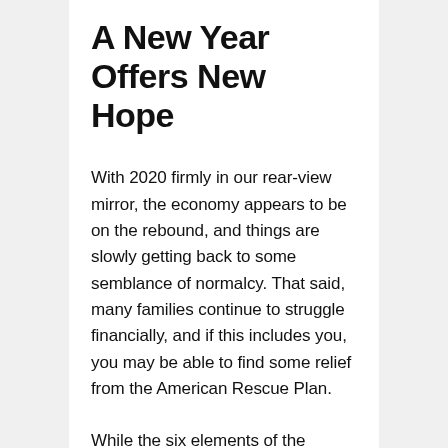A New Year Offers New Hope
With 2020 firmly in our rear-view mirror, the economy appears to be on the rebound, and things are slowly getting back to some semblance of normalcy. That said, many families continue to struggle financially, and if this includes you, you may be able to find some relief from the American Rescue Plan.
While the six elements of the legislation we covered here are among the most popular, there may be other provisions we haven't